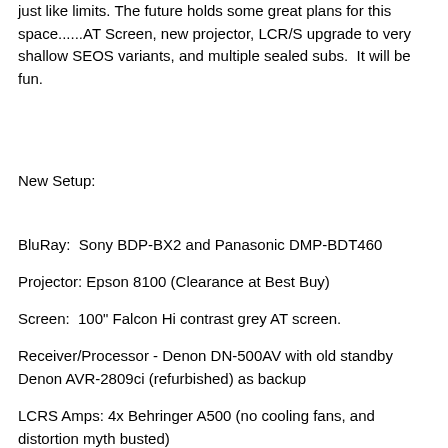just like limits. The future holds some great plans for this space......AT Screen, new projector, LCR/S upgrade to very shallow SEOS variants, and multiple sealed subs.  It will be fun.
New Setup:
BluRay:  Sony BDP-BX2 and Panasonic DMP-BDT460
Projector: Epson 8100 (Clearance at Best Buy)
Screen:  100" Falcon Hi contrast grey AT screen.
Receiver/Processor - Denon DN-500AV with old standby Denon AVR-2809ci (refurbished) as backup
LCRS Amps: 4x Behringer A500 (no cooling fans, and distortion myth busted)